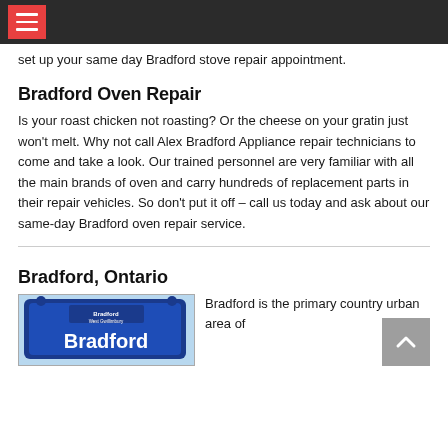Menu
set up your same day Bradford stove repair appointment.
Bradford Oven Repair
Is your roast chicken not roasting? Or the cheese on your gratin just won't melt. Why not call Alex Bradford Appliance repair technicians to come and take a look. Our trained personnel are very familiar with all the main brands of oven and carry hundreds of replacement parts in their repair vehicles. So don't put it off – call us today and ask about our same-day Bradford oven repair service.
Bradford, Ontario
[Figure (photo): Blue Bradford West Gwillimbury town sign with 'Bradford' text]
Bradford is the primary country urban area of